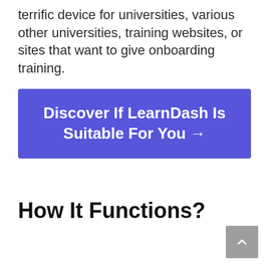terrific device for universities, various other universities, training websites, or sites that want to give onboarding training.
[Figure (other): Blue call-to-action button with white text: 'Discover If LearnDash Is Suitable For You →']
How It Functions?